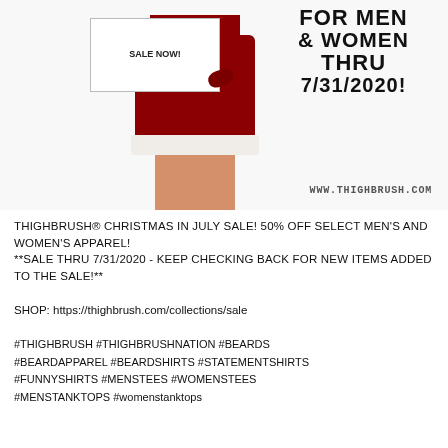[Figure (photo): Woman in red Santa dress holding a white sign that says 'SALE NOW!' with text overlay 'FOR MEN & WOMEN THRU 7/31/2020!' and website 'WWW.THIGHBRUSH.COM']
THIGHBRUSH® CHRISTMAS IN JULY SALE! 50% OFF SELECT MEN'S AND WOMEN'S APPAREL! **SALE THRU 7/31/2020 - KEEP CHECKING BACK FOR NEW ITEMS ADDED TO THE SALE!**
SHOP: https://thighbrush.com/collections/sale
#THIGHBRUSH #THIGHBRUSHNATION #BEARDS #BEARDAPPAREL #BEARDSHIRTS #STATEMENTSHIRTS #FUNNYSHIRTS #MENSTEES #WOMENSTEES #MENSTANKTOPS #womenstanktops